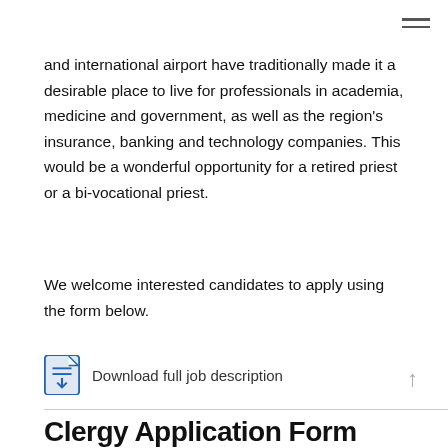and international airport have traditionally made it a desirable place to live for professionals in academia, medicine and government, as well as the region's insurance, banking and technology companies. This would be a wonderful opportunity for a retired priest or a bi-vocational priest.
We welcome interested candidates to apply using the form below.
Download full job description
Clergy Application Form